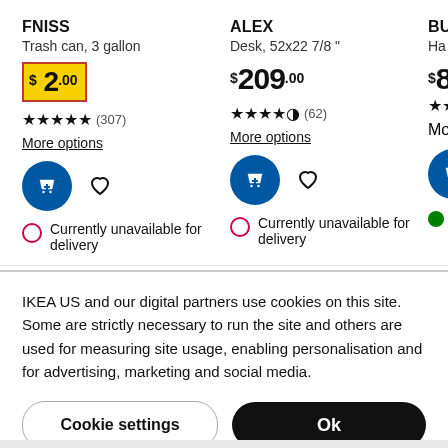FNISS
Trash can, 3 gallon
$2.00
★★★★★ (307)
More options
Currently unavailable for delivery
ALEX
Desk, 52x22 7/8 "
$209.00
★★★★½ (62)
More options
Currently unavailable for delivery
BU...
Ha...
$8...
IKEA US and our digital partners use cookies on this site. Some are strictly necessary to run the site and others are used for measuring site usage, enabling personalisation and for advertising, marketing and social media.
Cookie settings
Ok